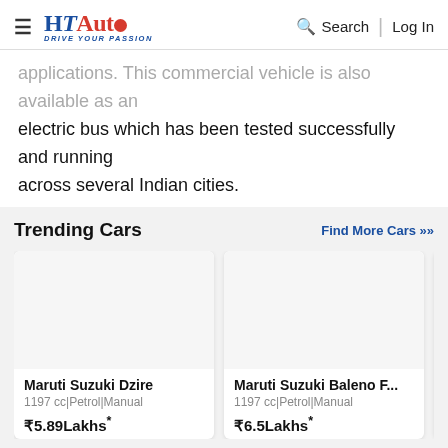HT Auto - Drive Your Passion | Search | Log In
applications. This commercial vehicle is also available as an electric bus which has been tested successfully and running across several Indian cities.
Trending Cars
Find More Cars >>
[Figure (screenshot): Car card for Maruti Suzuki Dzire - 1197 cc|Petrol|Manual, ₹5.89Lakhs*]
[Figure (screenshot): Car card for Maruti Suzuki Baleno F... - 1197 cc|Petrol|Manual, ₹6.5Lakhs*]
[Figure (screenshot): Partial car card for Kia, partially visible, starting with ₹6...]